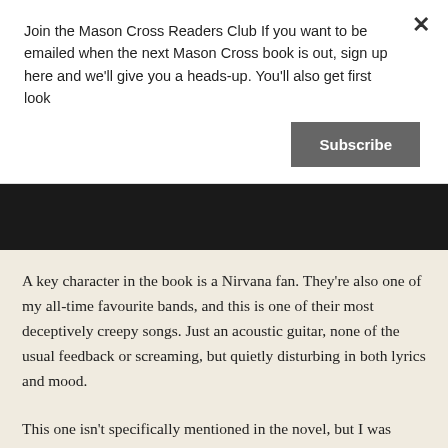Join the Mason Cross Readers Club If you want to be emailed when the next Mason Cross book is out, sign up here and we'll give you a heads-up. You'll also get first look
Subscribe
[Figure (photo): Dark black image bar spanning the full width of the page]
A key character in the book is a Nirvana fan. They're also one of my all-time favourite bands, and this is one of their most deceptively creepy songs. Just an acoustic guitar, none of the usual feedback or screaming, but quietly disturbing in both lyrics and mood.
This one isn't specifically mentioned in the novel, but I was playing it a lot while I wrote the book. Got some rope, have been told / Promise you, have been true...